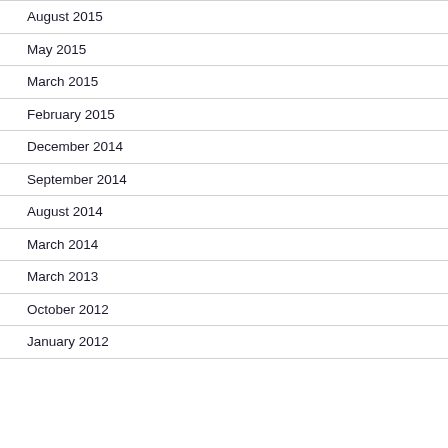August 2015
May 2015
March 2015
February 2015
December 2014
September 2014
August 2014
March 2014
March 2013
October 2012
January 2012